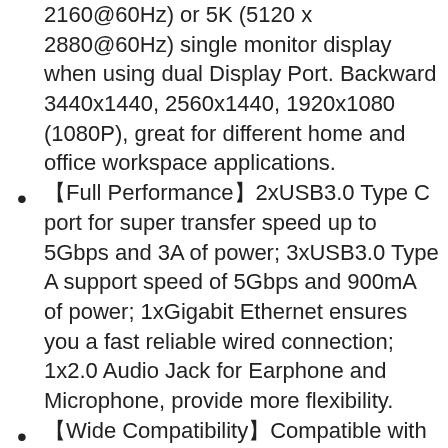2160@60Hz) or 5K (5120 x 2880@60Hz) single monitor display when using dual Display Port. Backward 3440x1440, 2560x1440, 1920x1080 (1080P), great for different home and office workspace applications.
【Full Performance】2xUSB3.0 Type C port for super transfer speed up to 5Gbps and 3A of power; 3xUSB3.0 Type A support speed of 5Gbps and 900mA of power; 1xGigabit Ethernet ensures you a fast reliable wired connection; 1x2.0 Audio Jack for Earphone and Microphone, provide more flexibility.
【Wide Compatibility】Compatible with both Type-C and Type-A Laptops.